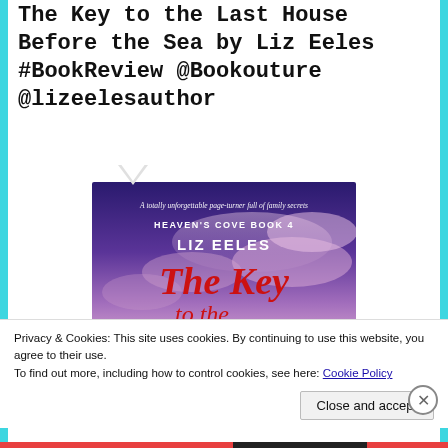The Key to the Last House Before the Sea by Liz Eeles #BookReview @Bookouture @lizeelesauthor
[Figure (illustration): Book cover for 'The Key to the Last House Before the Sea' by Liz Eeles. Heaven's Cove Book 4. Purple/blue sky background with clouds. White text at top: 'A totally unforgettable page-turner full of family secrets'. Below: 'HEAVEN'S COVE BOOK 4', 'LIZ EELES'. Large red cursive/serif title: 'The Key to the Last House' (partially visible).]
Privacy & Cookies: This site uses cookies. By continuing to use this website, you agree to their use.
To find out more, including how to control cookies, see here: Cookie Policy
Close and accept